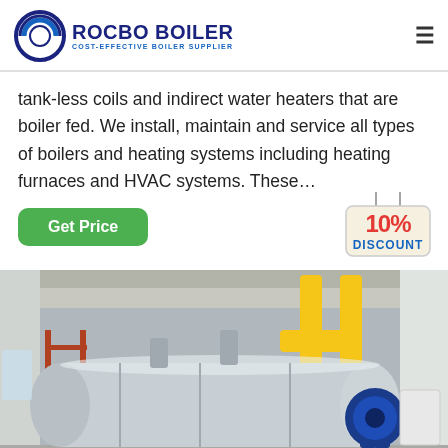[Figure (logo): ROCBO BOILER logo with circular blue icon and text 'COST-EFFECTIVE BOILER SUPPLIER']
tank-less coils and indirect water heaters that are boiler fed. We install, maintain and service all types of boilers and heating systems including heating furnaces and HVAC systems. These…
[Figure (infographic): Green 'Get Price' button and a hanging tag badge showing '10% DISCOUNT']
[Figure (photo): Industrial boiler room with a large horizontal stainless steel boiler, yellow gas pipes, and blue burner assembly]